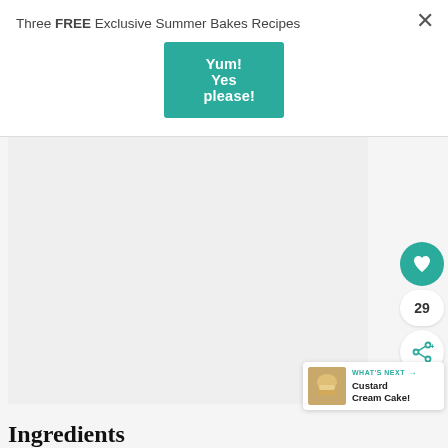Three FREE Exclusive Summer Bakes Recipes
Yum! Yes please!
[Figure (photo): Recipe food photo placeholder (light grey background image region)]
[Figure (illustration): Heart / like button icon (teal circle with white heart)]
29
[Figure (illustration): Share button icon (white circle with teal share symbol)]
WHAT'S NEXT → Custard Cream Cake!
Ingredients